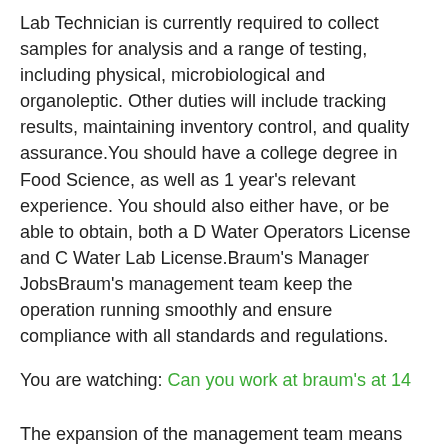Lab Technician is currently required to collect samples for analysis and a range of testing, including physical, microbiological and organoleptic. Other duties will include tracking results, maintaining inventory control, and quality assurance.You should have a college degree in Food Science, as well as 1 year's relevant experience. You should also either have, or be able to obtain, both a D Water Operators License and C Water Lab License.Braum's Manager JobsBraum's management team keep the operation running smoothly and ensure compliance with all standards and regulations.
You are watching: Can you work at braum's at 14
The expansion of the management team means Braum's are seeking passionate, positive, energetic individuals in search of a career offering fantastic